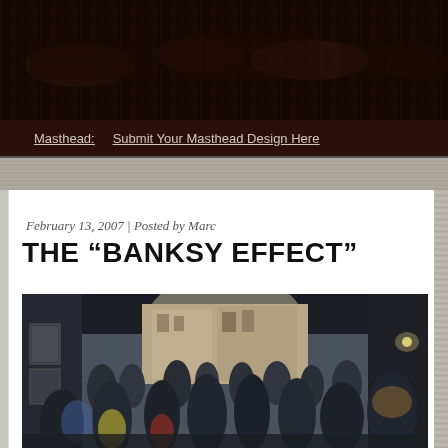[Figure (photo): Dark masthead banner area with textured dark background for a blog or magazine website]
Masthead:   Submit Your Masthead Design Here
[Figure (photo): Crowd of people gathered inside what appears to be an exhibition or gallery space, viewed from inside looking toward a street outside through an archway. Black and white/vintage color photo.]
February 13, 2007 | Posted by Marc
THE "BANKSY EFFECT"